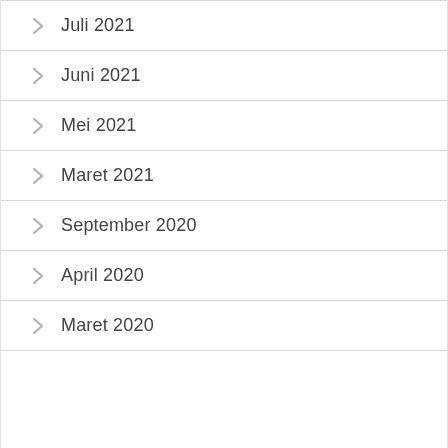Juli 2021
Juni 2021
Mei 2021
Maret 2021
September 2020
April 2020
Maret 2020